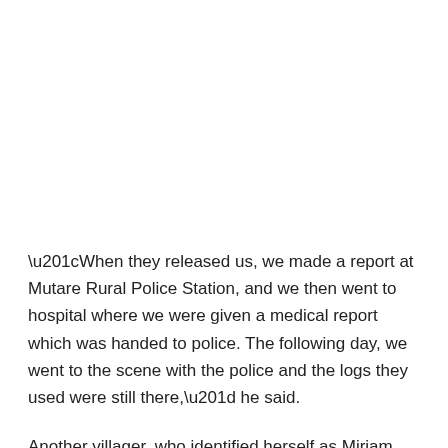“When they released us, we made a report at Mutare Rural Police Station, and we then went to hospital where we were given a medical report which was handed to police. The following day, we went to the scene with the police and the logs they used were still there,” he said.
Another villager, who identified herself as Miriam Mukwati,